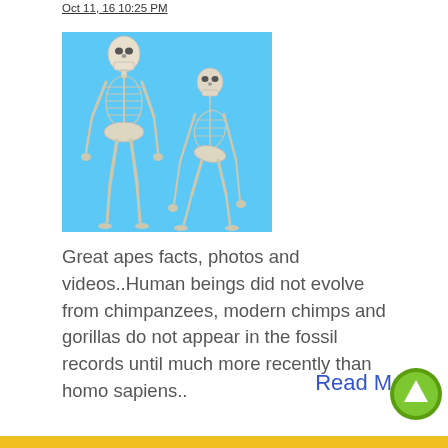Oct 11, 16 10:25 PM
[Figure (illustration): Two skeletal figures side by side on a light blue background: a tall upright human skeleton on the left and a shorter hunched primate skeleton on the right, illustrating comparison between human and great ape anatomy.]
Great apes facts, photos and videos..Human beings did not evolve from chimpanzees, modern chimps and gorillas do not appear in the fossil records until much more recently than homo sapiens..
Read More